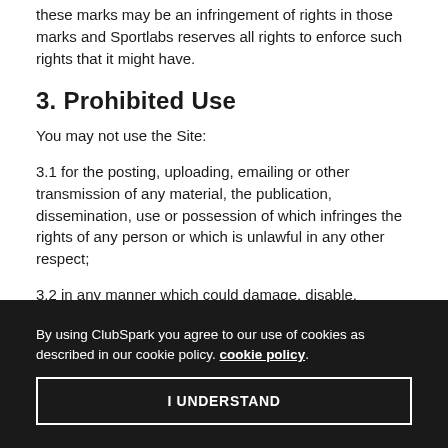these marks may be an infringement of rights in those marks and Sportlabs reserves all rights to enforce such rights that it might have.
3. Prohibited Use
You may not use the Site:
3.1 for the posting, uploading, emailing or other transmission of any material, the publication, dissemination, use or possession of which infringes the rights of any person or which is unlawful in any other respect;
3.2 in any manner which could damage, disable, overburden, or impair the Site;
By using ClubSpark you agree to our use of cookies as described in our cookie policy. cookie policy.
I UNDERSTAND